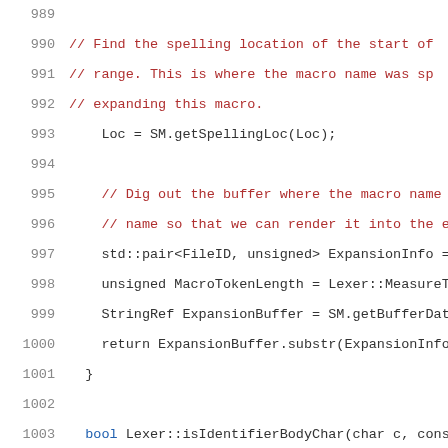Source code lines 989-1009 showing C++ code for macro spelling location, identifier body char functions, and diagnostics forwarding code comment.